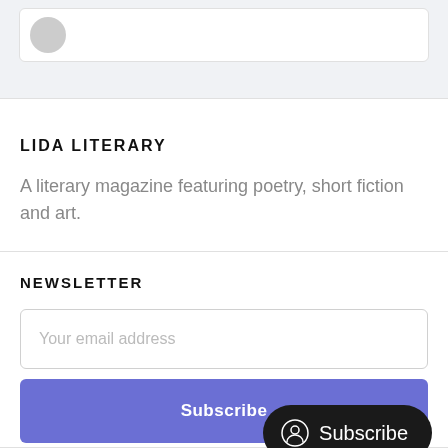[Figure (screenshot): Top card with avatar placeholder and partial text, on a light gray background]
LIDA LITERARY
A literary magazine featuring poetry, short fiction and art.
NEWSLETTER
Your email address
Subscribe